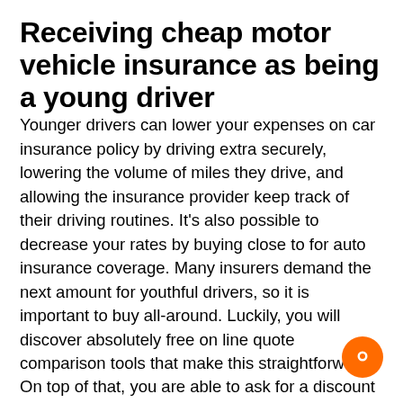Receiving cheap motor vehicle insurance as being a young driver
Younger drivers can lower your expenses on car insurance policy by driving extra securely, lowering the volume of miles they drive, and allowing the insurance provider keep track of their driving routines. It's also possible to decrease your rates by buying close to for auto insurance coverage. Many insurers demand the next amount for youthful drivers, so it is important to buy all-around. Luckily, you will discover absolutely free on line quote comparison tools that make this straightforward. On top of that, you are able to ask for a discount Should you have multiple cars and trucks and possess them insured by a similar business.
When seeking a policy, Make sure you Evaluate a number of prices and choose the very best worth and good quality. You may as well try to look for an insurance policy agent who will grow with you, enabling you to create adjustments as